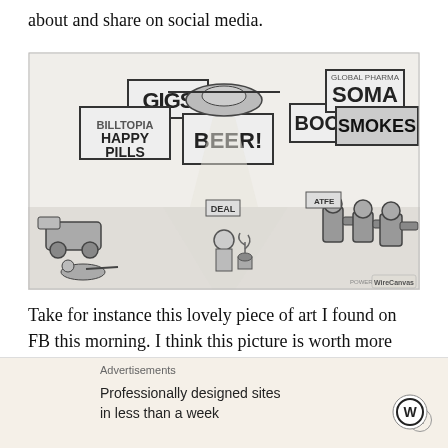about and share on social media.
[Figure (illustration): A detailed black and white cartoon/satirical illustration showing a person sitting with a small cannabis plant, surrounded by armed police/military robots, while large billboard signs advertise 'GIGS', 'HAPPY PILLS', 'BEER!', 'BOOZE', 'SOMA', 'SMOKES', and other products. Helicopters fly overhead. A watermark reads 'WireCanvas'.]
Take for instance this lovely piece of art I found on FB this morning. I think this picture is worth more like millions
Advertisements
Professionally designed sites in less than a week